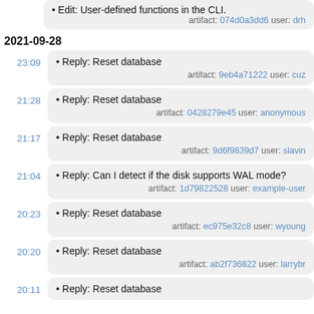Edit: User-defined functions in the CLI. artifact: 074d0a3dd6 user: drh
2021-09-28
Reply: Reset database artifact: 9eb4a71222 user: cuz
Reply: Reset database artifact: 0428279e45 user: anonymous
Reply: Reset database artifact: 9d6f9839d7 user: slavin
Reply: Can I detect if the disk supports WAL mode? artifact: 1d79822528 user: example-user
Reply: Reset database artifact: ec975e32c8 user: wyoung
Reply: Reset database artifact: ab2f736822 user: larrybr
Reply: Reset database